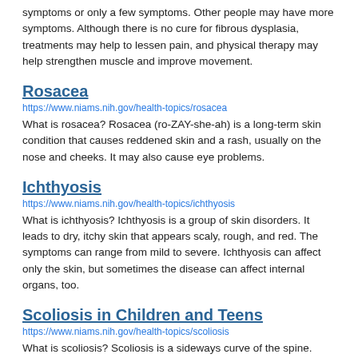symptoms or only a few symptoms. Other people may have more symptoms. Although there is no cure for fibrous dysplasia, treatments may help to lessen pain, and physical therapy may help strengthen muscle and improve movement.
Rosacea
https://www.niams.nih.gov/health-topics/rosacea
What is rosacea? Rosacea (ro-ZAY-she-ah) is a long-term skin condition that causes reddened skin and a rash, usually on the nose and cheeks. It may also cause eye problems.
Ichthyosis
https://www.niams.nih.gov/health-topics/ichthyosis
What is ichthyosis? Ichthyosis is a group of skin disorders. It leads to dry, itchy skin that appears scaly, rough, and red. The symptoms can range from mild to severe. Ichthyosis can affect only the skin, but sometimes the disease can affect internal organs, too.
Scoliosis in Children and Teens
https://www.niams.nih.gov/health-topics/scoliosis
What is scoliosis? Scoliosis is a sideways curve of the spine. Children and teens with scoliosis have an abnormal S-shaped or C-